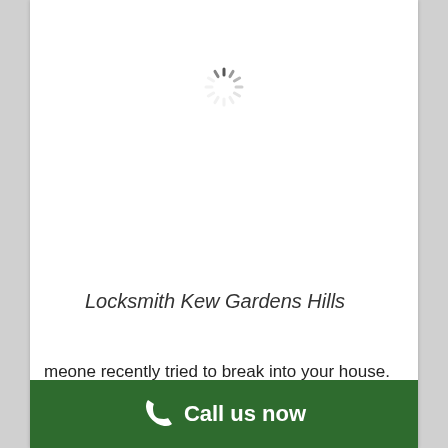[Figure (other): Loading spinner icon (circular dashes arrangement)]
Locksmith Kew Gardens Hills
meone recently tried to break into your house. Changing your locks, boosting securityhttps://newyork.craigslist.org/search/sec, and fostering your window locks could bring peace of mind.
* Its below freezing and you get back home after an
Call us now